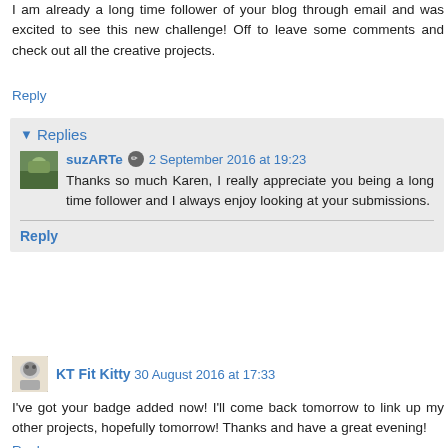I am already a long time follower of your blog through email and was excited to see this new challenge! Off to leave some comments and check out all the creative projects.
Reply
Replies
suzARTe  2 September 2016 at 19:23
Thanks so much Karen, I really appreciate you being a long time follower and I always enjoy looking at your submissions.
Reply
KT Fit Kitty  30 August 2016 at 17:33
I've got your badge added now! I'll come back tomorrow to link up my other projects, hopefully tomorrow! Thanks and have a great evening!
Reply